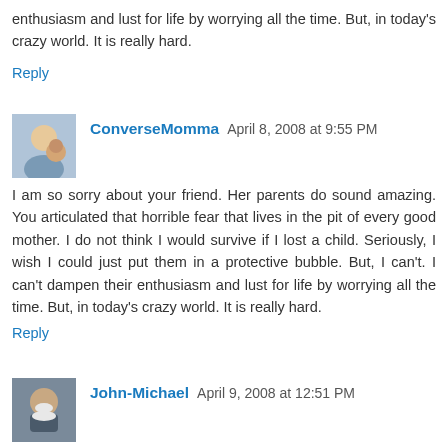enthusiasm and lust for life by worrying all the time. But, in today's crazy world. It is really hard.
Reply
[Figure (photo): Avatar photo of ConverseMomma showing a woman and child]
ConverseMomma  April 8, 2008 at 9:55 PM
I am so sorry about your friend. Her parents do sound amazing. You articulated that horrible fear that lives in the pit of every good mother. I do not think I would survive if I lost a child. Seriously, I wish I could just put them in a protective bubble. But, I can't. I can't dampen their enthusiasm and lust for life by worrying all the time. But, in today's crazy world. It is really hard.
Reply
[Figure (photo): Avatar photo of John-Michael showing an older man with white beard]
John-Michael  April 9, 2008 at 12:51 PM
My Darling Friend, please forgive this intrusion … but knowing your compassionate Heart, I am compelled to send this to you. Please read it, and follow your Heart's leading. I have unwavering trust in that. I Love You.